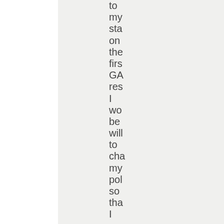to my sta on the firs GA res I wo be will to cha my pol so tha I enc up pro the hig sig